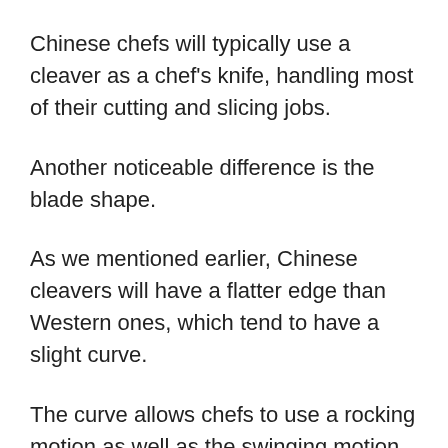Chinese chefs will typically use a cleaver as a chef's knife, handling most of their cutting and slicing jobs.
Another noticeable difference is the blade shape.
As we mentioned earlier, Chinese cleavers will have a flatter edge than Western ones, which tend to have a slight curve.
The curve allows chefs to use a rocking motion as well as the swinging motion to chop ingredients.